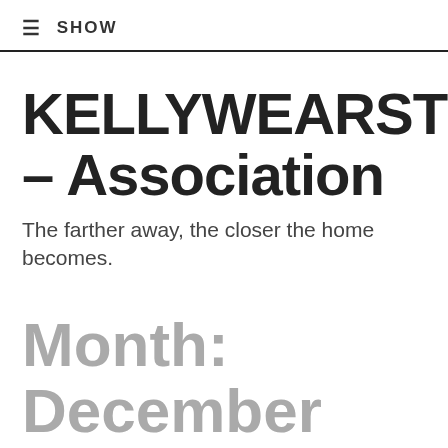≡ SHOW
KELLYWEARSTLERFOR – Association
The farther away, the closer the home becomes.
Month: December 2018